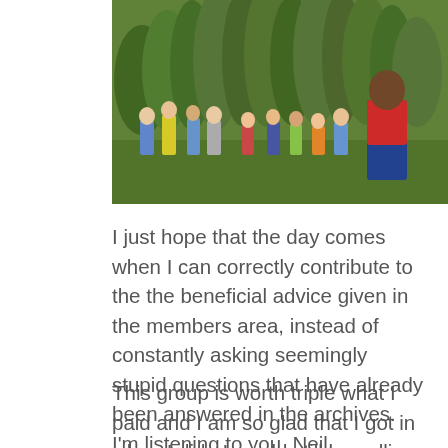[Figure (photo): Group of people standing in a garden or farm field among tall green leafy plants. One person on the right is wearing red shirt and blue overalls.]
I just hope that the day comes when I can correctly contribute to the the beneficial advice given in the members area, instead of constantly asking seemingly stupid questions that have already been answered in the archives.  I'm listening to you, Neil.
This group is worth triple what I paid and I am so glad that I got in when I did.  I would still be selling my blood to pay the price of admission if Mike/Duston charged what this info is really worth.